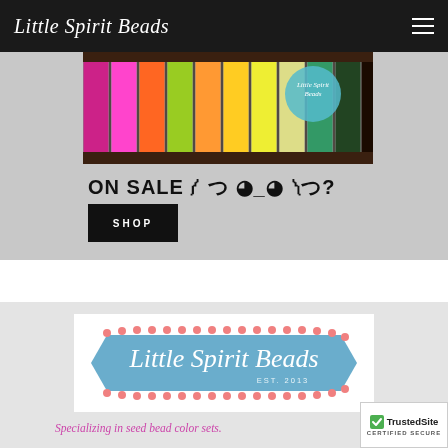Little Spirit Beads
[Figure (photo): Colorful seed beads in tubes arranged in a rainbow of colors with a Little Spirit Beads logo circle visible]
ON SALE ༼ つ ◕_◕ ༽つ?
SHOP
[Figure (logo): Little Spirit Beads logo on a blue ribbon banner with pink scalloped edges, EST. 2013]
Specializing in seed bead color sets.
[Figure (logo): TrustedSite Certified Secure badge]